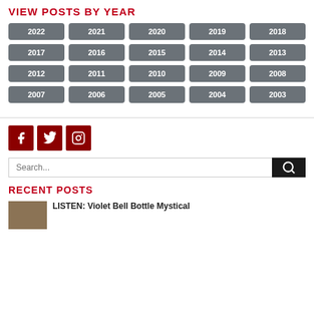View Posts By Year
[Figure (infographic): Grid of year buttons from 2022 to 2003 arranged in 4 rows of 5, each a dark grey rounded rectangle with white text]
[Figure (infographic): Three dark red social media icon buttons: Facebook, Twitter, Instagram]
[Figure (screenshot): Search bar with placeholder text 'Search...' and a black search button with magnifying glass icon]
Recent Posts
LISTEN: Violet Bell Bottle Mystical